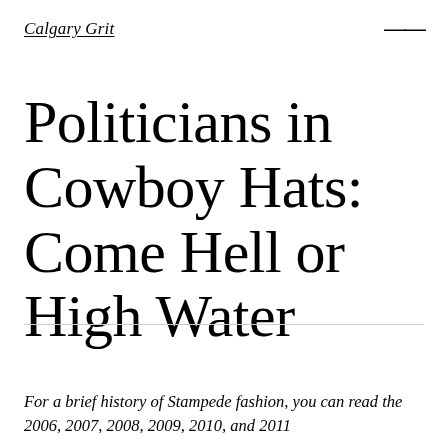Calgary Grit
Politicians in Cowboy Hats: Come Hell or High Water
For a brief history of Stampede fashion, you can read the 2006, 2007, 2008, 2009, 2010, and 2011